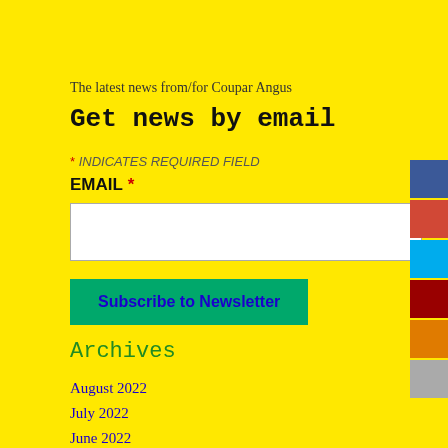The latest news from/for Coupar Angus
Get news by email
* INDICATES REQUIRED FIELD
EMAIL *
Subscribe to Newsletter
Archives
August 2022
July 2022
June 2022